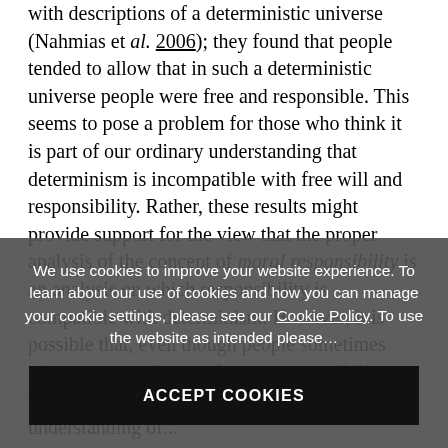with descriptions of a deterministic universe (Nahmias et al. 2006); they found that people tended to allow that in such a deterministic universe people were free and responsible. This seems to pose a problem for those who think it is part of our ordinary understanding that determinism is incompatible with free will and responsibility. Rather, these results might provide support for the view that the proper analysis of the concept of moral responsibility is an analysis on which responsibility is compatible with determinism. However, it is possible that, even though people sometimes give responses that conform to compatibilism, these responses do not really reflect the folk understanding of ...
We use cookies to improve your website experience. To learn about our use of cookies and how you can manage your cookie settings, please see our Cookie Policy. To use the website as intended please...
ACCEPT COOKIES